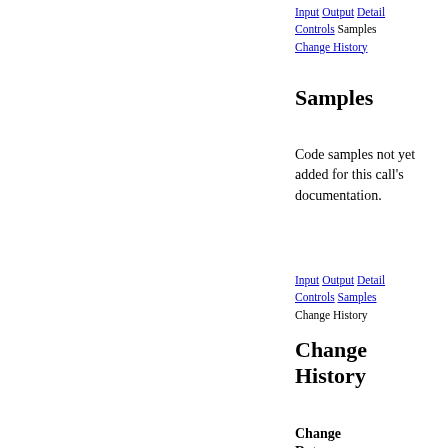Input Output Detail Controls Samples Change History
Samples
Code samples not yet added for this call's documentation.
Input Output Detail Controls Samples Change History
Change History
Change Date